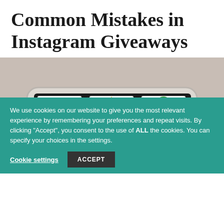Common Mistakes in Instagram Giveaways
[Figure (illustration): A slot machine showing three reels with a red tag/gift icon, a yellow star, and a green clover/shamrock. The machine has a gray/beige background and the bottom of each reel shows blue diamond shapes.]
We use cookies on our website to give you the most relevant experience by remembering your preferences and repeat visits. By clicking “Accept”, you consent to the use of ALL the cookies. You can specify your choices in the settings.
Cookie settings   ACCEPT